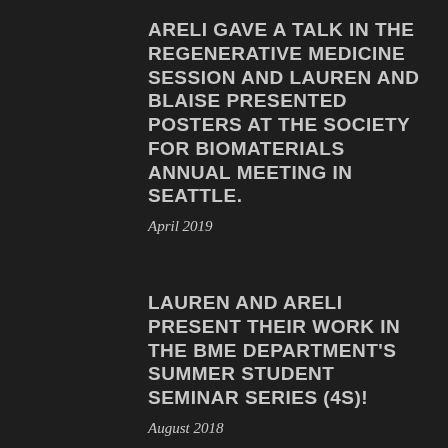ARELI GAVE A TALK IN THE REGENERATIVE MEDICINE SESSION AND LAUREN AND BLAISE PRESENTED POSTERS AT THE SOCIETY FOR BIOMATERIALS ANNUAL MEETING IN SEATTLE.
April 2019
LAUREN AND ARELI PRESENT THEIR WORK IN THE BME DEPARTMENT'S SUMMER STUDENT SEMINAR SERIES (4S)!
August 2018
THE GRIFFIN LAB TEAMED UP WITH THE